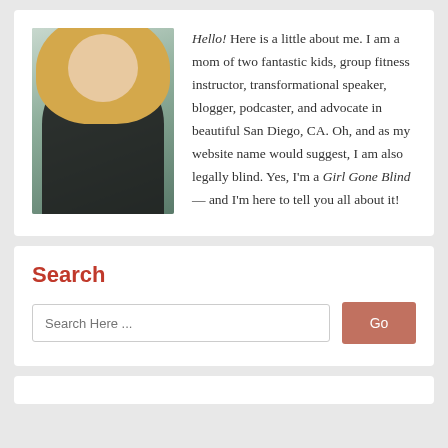[Figure (photo): Photo of a blonde woman in a black turtleneck sweater, smiling, with green tropical plants in the background]
Hello! Here is a little about me. I am a mom of two fantastic kids, group fitness instructor, transformational speaker, blogger, podcaster, and advocate in beautiful San Diego, CA. Oh, and as my website name would suggest, I am also legally blind. Yes, I'm a Girl Gone Blind — and I'm here to tell you all about it!
Search
Search Here ...